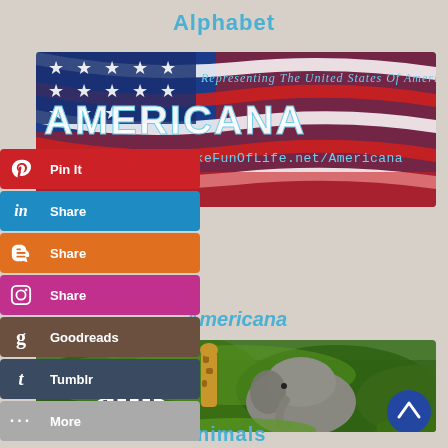Alphabet
[Figure (illustration): Americana banner with American flag background showing red, white and blue stripes and stars. Text reads 'Representing The United States Of America' and 'AMERICANA' in large white letters, with URL 'Visit www.MakeFunOfLife.net/Americana']
[Figure (infographic): Social media share buttons: Pin It (Pinterest, red), Share (LinkedIn, blue), Share (Blogger, orange), Share (Instagram, pink/magenta), Goodreads (brown), Tumblr (dark blue), More (gray)]
Americana
[Figure (photo): Wildlife photo showing an elephant, giraffe, and zebra in a lush green jungle/savanna setting]
Animals